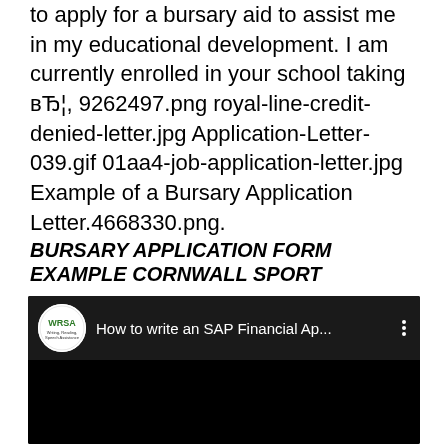to apply for a bursary aid to assist me in my educational development. I am currently enrolled in your school taking вЂ¦, 9262497.png royal-line-credit-denied-letter.jpg Application-Letter-039.gif 01aa4-job-application-letter.jpg Example of a Bursary Application Letter.4668330.png.
BURSARY APPLICATION FORM EXAMPLE CORNWALL SPORT
[Figure (screenshot): YouTube video thumbnail showing WRSA logo and title 'How to write an SAP Financial Ap...' with three-dot menu icon, black video area below]